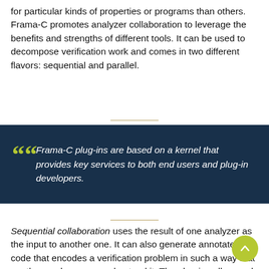for particular kinds of properties or programs than others. Frama-C promotes analyzer collaboration to leverage the benefits and strengths of different tools. It can be used to decompose verification work and comes in two different flavors: sequential and parallel.
Frama-C plug-ins are based on a kernel that provides key services to both end users and plug-in developers.
Sequential collaboration uses the result of one analyzer as the input to another one. It can also generate annotated C code that encodes a verification problem in such a way that another analyzer can understand it. The plug-ins allow such collaborations in the "Support" and